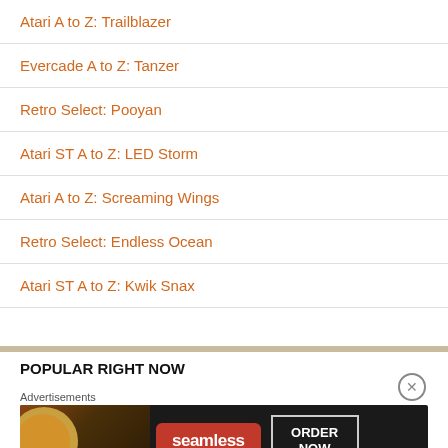Atari A to Z: Trailblazer
Evercade A to Z: Tanzer
Retro Select: Pooyan
Atari ST A to Z: LED Storm
Atari A to Z: Screaming Wings
Retro Select: Endless Ocean
Atari ST A to Z: Kwik Snax
POPULAR RIGHT NOW
[Figure (photo): Seamless food delivery advertisement banner with pizza image, Seamless logo button, and ORDER NOW button on dark background]